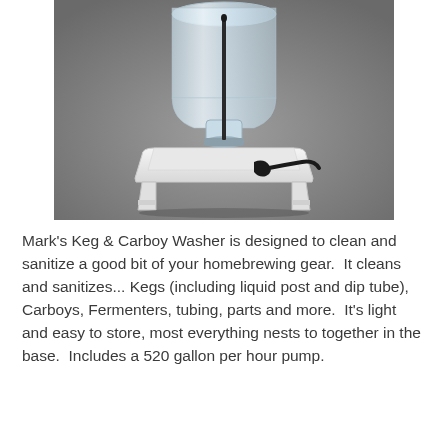[Figure (photo): Photo of Mark's Keg & Carboy Washer: a clear plastic water-cooler-style bottle inverted on a white plastic base/tray with legs, with a black pump fitting and cord visible at the base.]
Mark's Keg & Carboy Washer is designed to clean and sanitize a good bit of your homebrewing gear.  It cleans and sanitizes... Kegs (including liquid post and dip tube), Carboys, Fermenters, tubing, parts and more.  It's light and easy to store, most everything nests to together in the base.  Includes a 520 gallon per hour pump.